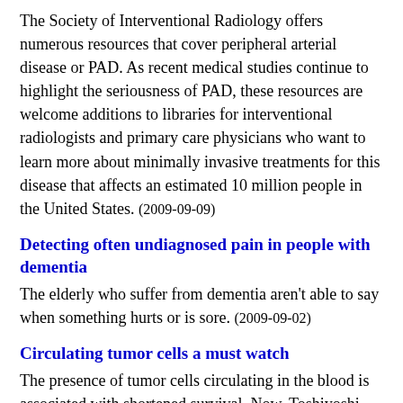The Society of Interventional Radiology offers numerous resources that cover peripheral arterial disease or PAD. As recent medical studies continue to highlight the seriousness of PAD, these resources are welcome additions to libraries for interventional radiologists and primary care physicians who want to learn more about minimally invasive treatments for this disease that affects an estimated 10 million people in the United States. (2009-09-09)
Detecting often undiagnosed pain in people with dementia
The elderly who suffer from dementia aren't able to say when something hurts or is sore. (2009-09-02)
Circulating tumor cells a must watch
The presence of tumor cells circulating in the blood is associated with shortened survival. Now, Toshiyoshi Fujiwara and colleagues, at Okayama University Hospital,